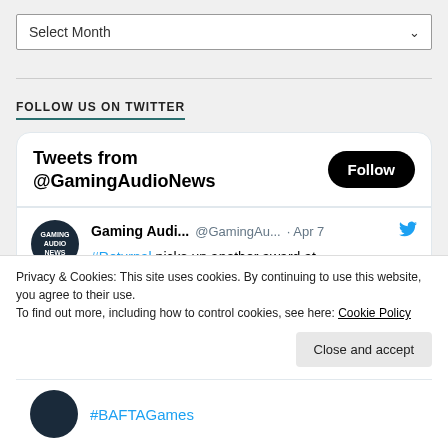Select Month
FOLLOW US ON TWITTER
Tweets from @GamingAudioNews
#Returnal picks up another award at #BAFTAGames, this time in the 'Music' category for its score, composed by @haxan_cloak.
Privacy & Cookies: This site uses cookies. By continuing to use this website, you agree to their use.
To find out more, including how to control cookies, see here: Cookie Policy
Close and accept
#BAFTAGames